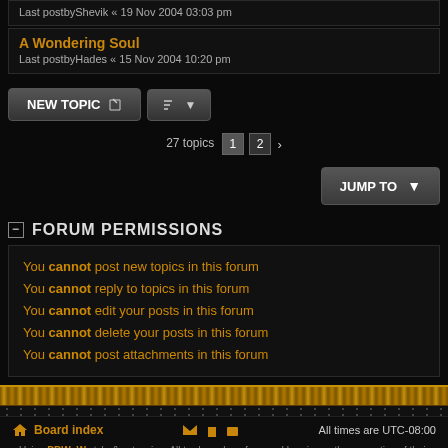Last postbyShevik « 19 Nov 2004 03:03 pm
A Wondering Soul
Last postbyHades « 15 Nov 2004 10:20 pm
NEW TOPIC
27 topics 1 2 >
JUMP TO
FORUM PERMISSIONS
You cannot post new topics in this forum
You cannot reply to topics in this forum
You cannot edit your posts in this forum
You cannot delete your posts in this forum
You cannot post attachments in this forum
Board index   All times are UTC-08:00
Using PBWoW style & extension. All trademarks referenced herein are the properties of their respective owners.
Powered by phpBB® Forum Software © phpBB Limited